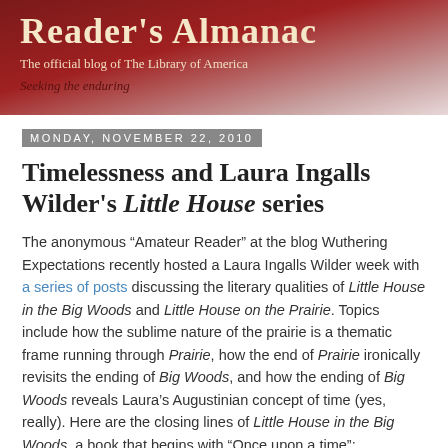Reader's Almanac
The official blog of The Library of America
Seeking the enduring
Monday, November 22, 2010
Timelessness and Laura Ingalls Wilder's Little House series
The anonymous “Amateur Reader” at the blog Wuthering Expectations recently hosted a Laura Ingalls Wilder week with a series of posts discussing the literary qualities of Little House in the Big Woods and Little House on the Prairie. Topics include how the sublime nature of the prairie is a thematic frame running through Prairie, how the end of Prairie ironically revisits the ending of Big Woods, and how the ending of Big Woods reveals Laura’s Augustinian concept of time (yes, really). Here are the closing lines of Little House in the Big Woods, a book that begins with “Once upon a time”: